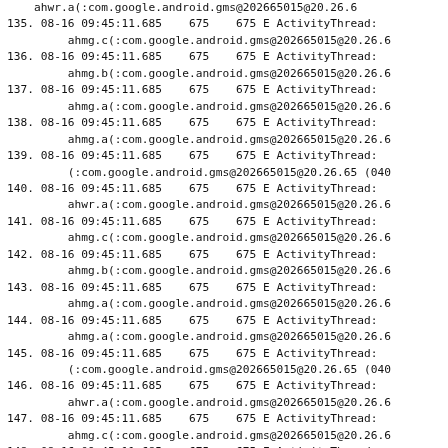ahwr.a(:com.google.android.gms@202665015@20.26.6
135. 08-16 09:45:11.685    675    675 E ActivityThread:
     ahmg.c(:com.google.android.gms@202665015@20.26.6
136. 08-16 09:45:11.685    675    675 E ActivityThread:
     ahmg.b(:com.google.android.gms@202665015@20.26.6
137. 08-16 09:45:11.685    675    675 E ActivityThread:
     ahmg.a(:com.google.android.gms@202665015@20.26.6
138. 08-16 09:45:11.685    675    675 E ActivityThread:
     ahmg.a(:com.google.android.gms@202665015@20.26.6
139. 08-16 09:45:11.685    675    675 E ActivityThread:
     (:com.google.android.gms@202665015@20.26.65 (040
140. 08-16 09:45:11.685    675    675 E ActivityThread:
     ahwr.a(:com.google.android.gms@202665015@20.26.6
141. 08-16 09:45:11.685    675    675 E ActivityThread:
     ahmg.c(:com.google.android.gms@202665015@20.26.6
142. 08-16 09:45:11.685    675    675 E ActivityThread:
     ahmg.b(:com.google.android.gms@202665015@20.26.6
143. 08-16 09:45:11.685    675    675 E ActivityThread:
     ahmg.a(:com.google.android.gms@202665015@20.26.6
144. 08-16 09:45:11.685    675    675 E ActivityThread:
     ahmg.a(:com.google.android.gms@202665015@20.26.6
145. 08-16 09:45:11.685    675    675 E ActivityThread:
     (:com.google.android.gms@202665015@20.26.65 (040
146. 08-16 09:45:11.685    675    675 E ActivityThread:
     ahwr.a(:com.google.android.gms@202665015@20.26.6
147. 08-16 09:45:11.685    675    675 E ActivityThread:
     ahmg.c(:com.google.android.gms@202665015@20.26.6
148. 08-16 09:45:11.685    675    675 E ActivityThread:
     ahmg.b(:com.google.android.gms@202665015@20.26.6